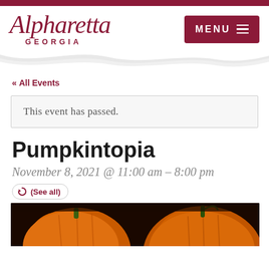[Figure (logo): Alpharetta Georgia city logo in dark red cursive script with GEORGIA in spaced capitals]
MENU ≡
[Figure (illustration): Decorative white wave divider on white background]
« All Events
This event has passed.
Pumpkintopia
November 8, 2021 @ 11:00 am – 8:00 pm
(See all)
[Figure (photo): Photo of orange pumpkins on dark background, cropped at bottom of page]